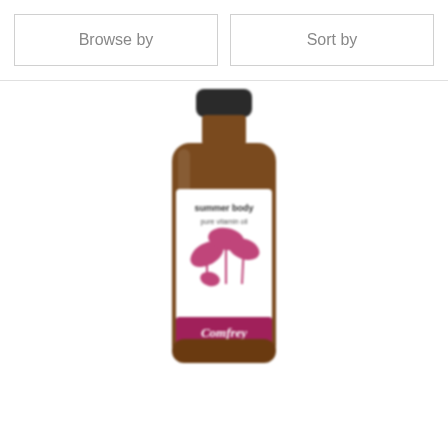Browse by
Sort by
[Figure (photo): A brown glass bottle with a white label featuring pink botanical (comfrey leaf) illustrations and the text 'summer body pure vitamin oil' and 'Comfrey' on a magenta/pink banner at the bottom of the label.]